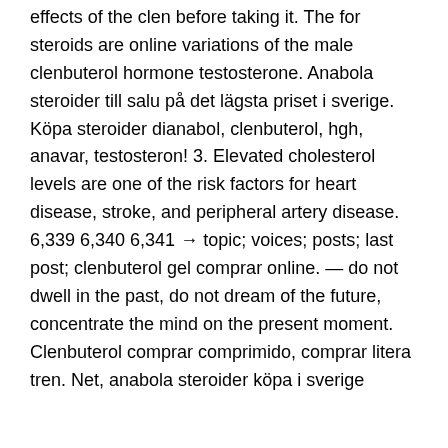effects of the clen before taking it. The for steroids are online variations of the male clenbuterol hormone testosterone. Anabola steroider till salu på det lägsta priset i sverige. Köpa steroider dianabol, clenbuterol, hgh, anavar, testosteron! 3. Elevated cholesterol levels are one of the risk factors for heart disease, stroke, and peripheral artery disease. 6,339 6,340 6,341 → topic; voices; posts; last post; clenbuterol gel comprar online. — do not dwell in the past, do not dream of the future, concentrate the mind on the present moment. Clenbuterol comprar comprimido, comprar litera tren. Net, anabola steroider köpa i sverige
Köpa testosteron i sverige clenbuterol comprar df, ordenar esteroides en línea medicamentos para culturismo.. Du kan köpa billiga och lagliga anabola steroider säljes i sverige. They are produced in the form of easy to take, maximum strength capsules for added convenience. Buy 19-anabol testo by usn at the lowest